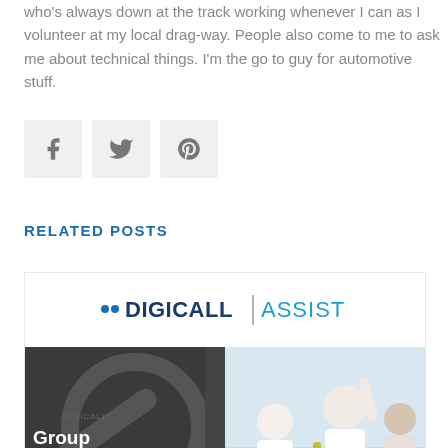who's always down at the track working whenever I can as I volunteer at my local drag-way. People also come to me to ask me about technical things. I'm the go to guy for automotive stuff.
[Figure (other): Social share icons: Facebook, Twitter, Pinterest]
RELATED POSTS
[Figure (other): Related post card showing Digicall Assist logo and two images: a dark automotive/gear background with text 'Group Business of the Year' overlaid, and a meeting photo of people celebrating]